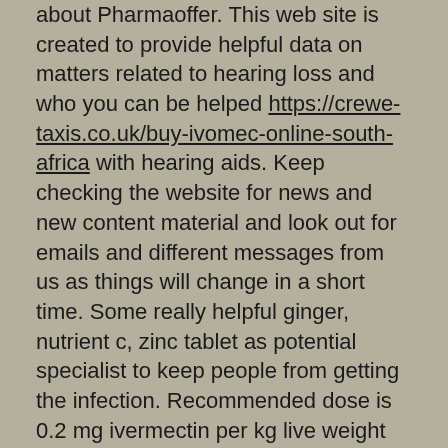about Pharmaoffer. This web site is created to provide helpful data on matters related to hearing loss and who you can be helped https://crewe-taxis.co.uk/buy-ivomec-online-south-africa with hearing aids. Keep checking the website for news and new content material and look out for emails and different messages from us as things will change in a short time. Some really helpful ginger, nutrient c, zinc tablet as potential specialist to keep people from getting the infection. Recommended dose is 0.2 mg ivermectin per kg live weight (corresponding to 1 ml of the product per 50 kg https://www.travelbhutantours.com/stromectol-reviews reside weight). Let the supplier know whether or not you might be looking for a product with a particular buy generic stromectol uk no prescription monograph reminiscent of EP (Ph. 1) When treating sheep in opposition to Psoroptes conmmunis, administer two injections within 7 days. Outcomes: 200 eighty patients, 173 treated with ivermectin and 107 without ivermectin, were reviewed. Duration of